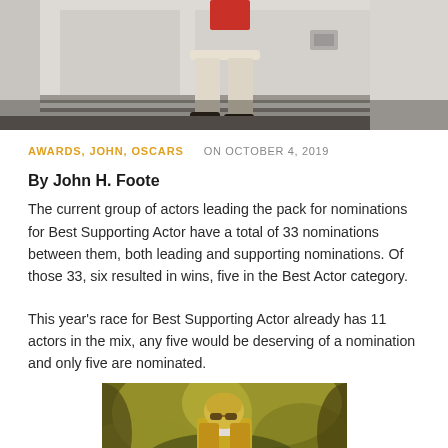[Figure (photo): Top cropped photo of a person sitting on the steps of a trailer/truck, wearing light-colored pants, with a white trailer and doors visible in the background]
AWARDS, JOHN, OSCARS   ON OCTOBER 4, 2019
By John H. Foote
The current group of actors leading the pack for nominations for Best Supporting Actor have a total of 33 nominations between them, both leading and supporting nominations. Of those 33, six resulted in wins, five in the Best Actor category.
This year’s race for Best Supporting Actor already has 11 actors in the mix, any five would be deserving of a nomination and only five are nominated.
[Figure (photo): Photo of a man with long blonde hair wearing sunglasses and a yellow patterned jacket, standing outdoors with a blurred green/yellow bokeh background]